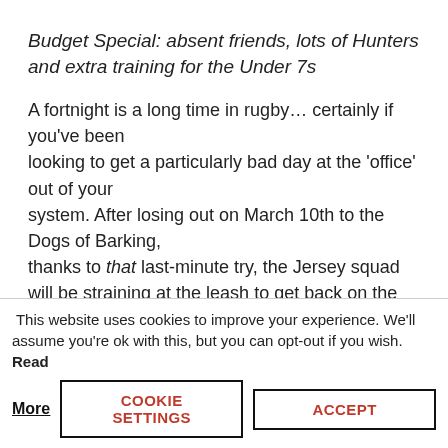Budget Special: absent friends, lots of Hunters and extra training for the Under 7s
A fortnight is a long time in rugby… certainly if you've been looking to get a particularly bad day at the 'office' out of your system. After losing out on March 10th to the Dogs of Barking, thanks to that last-minute try, the Jersey squad will be straining at the leash to get back on the pitch. Even the under 7s were called in for extra training on Thursday…
This is the start of the home stretch of the National One campaign, with five matches in six weekends [four clubs also have
This website uses cookies to improve your experience. We'll assume you're ok with this, but you can opt-out if you wish. Read More
COOKIE SETTINGS
ACCEPT